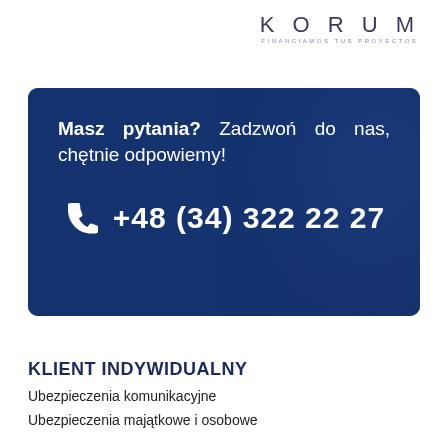[Figure (logo): KORUM logo with tagline FINANCIAMOS TUS PROYECTOS]
[Figure (infographic): Dark blue banner with text: Masz pytania? Zadzwoń do nas, chętnie odpowiemy! and phone number +48 (34) 322 22 27 with phone icon]
KLIENT INDYWIDUALNY
Ubezpieczenia komunikacyjne
Ubezpieczenia majątkowe i osobowe